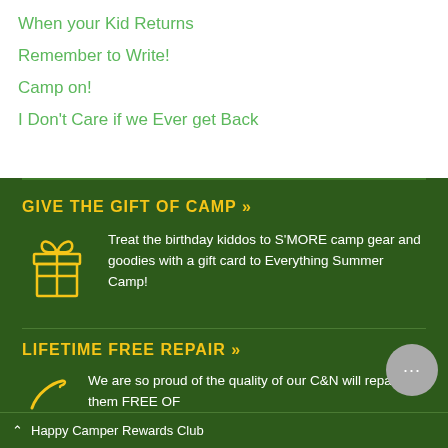When your Kid Returns
Remember to Write!
Camp on!
I Don't Care if we Ever get Back
GIVE THE GIFT OF CAMP »
Treat the birthday kiddos to S'MORE camp gear and goodies with a gift card to Everything Summer Camp!
LIFETIME FREE REPAIR »
We are so proud of the quality of our C&N will repair them FREE OF
Happy Camper Rewards Club